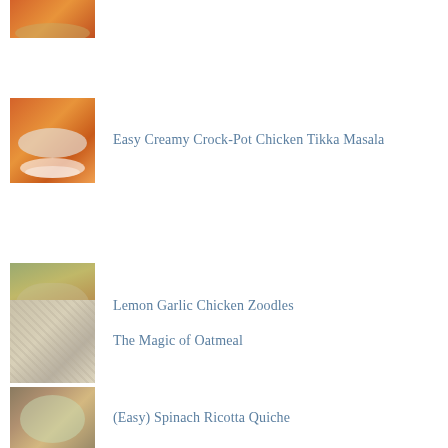[Figure (photo): Partial food photo at top (curry/stew dish), cropped]
Easy Creamy Crock-Pot Chicken Tikka Masala
Lemon Garlic Chicken Zoodles
The Magic of Oatmeal
(Easy) Spinach Ricotta Quiche